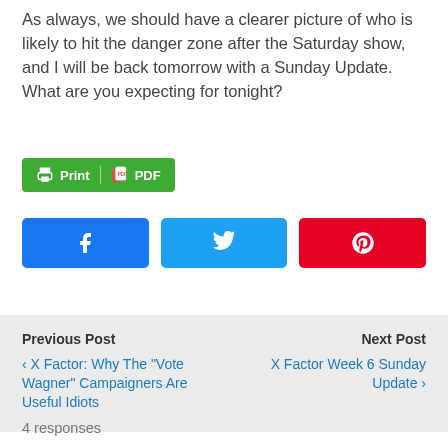As always, we should have a clearer picture of who is likely to hit the danger zone after the Saturday show, and I will be back tomorrow with a Sunday Update. What are you expecting for tonight?
[Figure (other): Green Print/PDF button with printer icon]
[Figure (other): Three social share buttons: Facebook (blue), Twitter (light blue), Pinterest (red)]
Previous Post
Next Post
< X Factor: Why The "Vote Wagner" Campaigners Are Useful Idiots
X Factor Week 6 Sunday Update >
4 responses